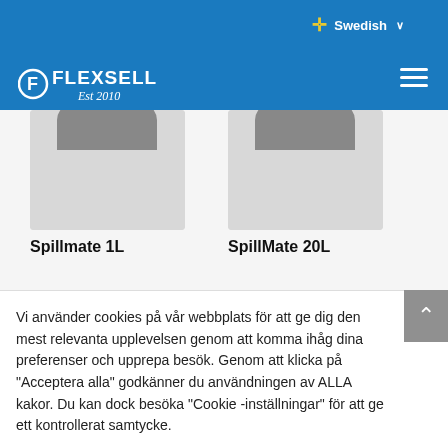FLEXSELL Est 2010 | Swedish
[Figure (photo): Partial product image of Spillmate 1L on grey background]
Spillmate 1L
[Figure (photo): Partial product image of SpillMate 20L on grey background]
SpillMate 20L
Vi använder cookies på vår webbplats för att ge dig den mest relevanta upplevelsen genom att komma ihåg dina preferenser och upprepa besök. Genom att klicka på "Acceptera alla" godkänner du användningen av ALLA kakor. Du kan dock besöka "Cookie -inställningar" för att ge ett kontrollerat samtycke.
Cookie inställningar
Acceptera alla